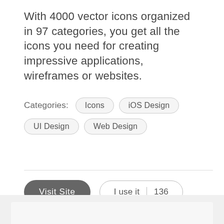With 4000 vector icons organized in 97 categories, you get all the icons you need for creating impressive applications, wireframes or websites.
Categories:  Icons  iOS Design  UI Design  Web Design
Visit Site  |  I use it  |  136